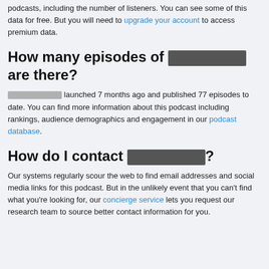Rephonic provides a full list of podcast information for two million podcasts, including the number of listeners. You can see some of this data for free. But you will need to upgrade your account to access premium data.
How many episodes of ░░░░░░░░░░░░░░ are there?
░░░░░░░░░░░░░░ launched 7 months ago and published 77 episodes to date. You can find more information about this podcast including rankings, audience demographics and engagement in our podcast database.
How do I contact ░░░░░░░░░░░░░░?
Our systems regularly scour the web to find email addresses and social media links for this podcast. But in the unlikely event that you can't find what you're looking for, our concierge service lets you request our research team to source better contact information for you.